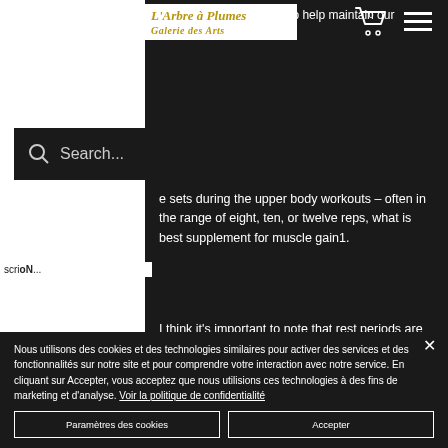L'Arbre à Plumes / Galerie des Arts
workouts are performed to help maintain our training and fitness levels.
Search...
e sets during the upper body workouts – often in the range of eight, ten, or twelve reps, what is best supplement for muscle gain1.
scrioN...
I think it's important to note that rest periods are important in programming for all
Nous utilisons des cookies et des technologies similaires pour activer des services et des fonctionnalités sur notre site et pour comprendre votre interaction avec notre service. En cliquant sur Accepter, vous acceptez que nous utilisions ces technologies à des fins de marketing et d'analyse. Voir la politique de confidentialité
Paramètres des cookies
Accepter